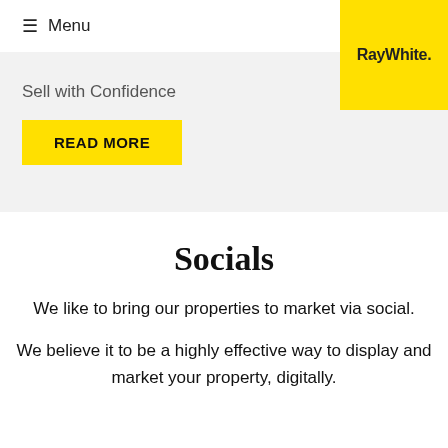☰ Menu
[Figure (logo): RayWhite real estate logo in bold black text on yellow background]
Sell with Confidence
READ MORE
Socials
We like to bring our properties to market via social.
We believe it to be a highly effective way to display and market your property, digitally.